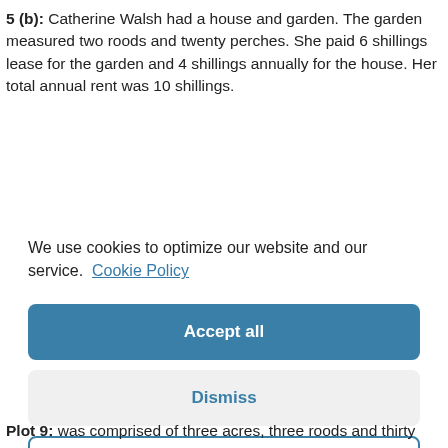5 (b): Catherine Walsh had a house and garden. The garden measured two roods and twenty perches. She paid 6 shillings lease for the garden and 4 shillings annually for the house. Her total annual rent was 10 shillings.
We use cookies to optimize our website and our service. Cookie Policy
Accept all
Dismiss
Preferences
Plot 9: was comprised of three acres, three roods and thirty